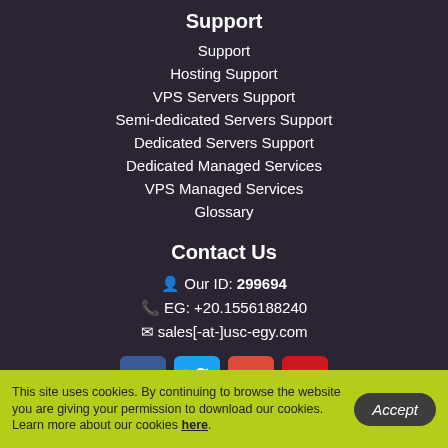Support
Support
Hosting Support
VPS Servers Support
Semi-dedicated Servers Support
Dedicated Servers Support
Dedicated Managed Services
VPS Managed Services
Glossary
Contact Us
Our ID: 299694
EG: +20.1556188240
sales[-at-]usc-egy.com
[Figure (other): Social media icons row: Facebook, Twitter, Google+, YouTube]
This site uses cookies. By continuing to browse the website you are giving your permission to download our cookies. Learn more about our cookies here.